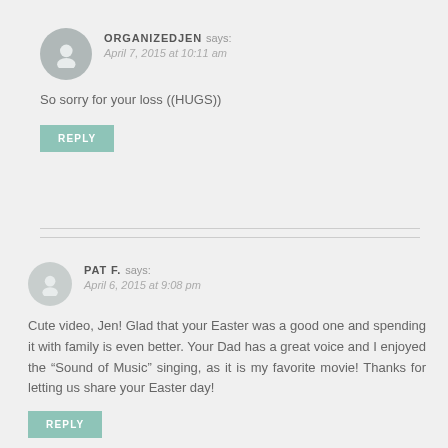ORGANIZEDJEN says: April 7, 2015 at 10:11 am
So sorry for your loss ((HUGS))
REPLY
PAT F. says: April 6, 2015 at 9:08 pm
Cute video, Jen! Glad that your Easter was a good one and spending it with family is even better. Your Dad has a great voice and I enjoyed the “Sound of Music” singing, as it is my favorite movie! Thanks for letting us share your Easter day!
REPLY